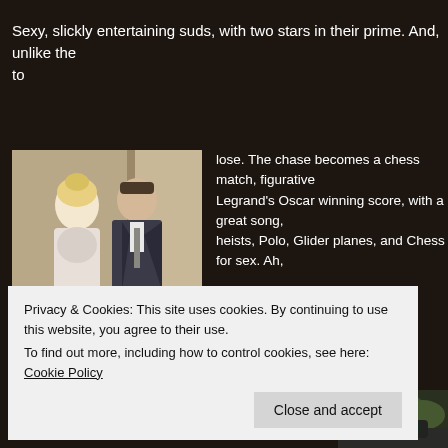Sexy, slickly entertaining suds, with two stars in their prime. And, unlike the to
[Figure (photo): Two actors, a blonde woman in a white dress and a man in a dark suit, standing together in a formal setting]
lose. The chase becomes a chess match, figuratively. Legrand's Oscar winning score, with a great song, heists, Polo, Glider planes, and Chess for sex. Ah,
[Figure (photo): Partial view of a vintage car with trees in the background]
Privacy & Cookies: This site uses cookies. By continuing to use this website, you agree to their use.
To find out more, including how to control cookies, see here: Cookie Policy
Close and accept